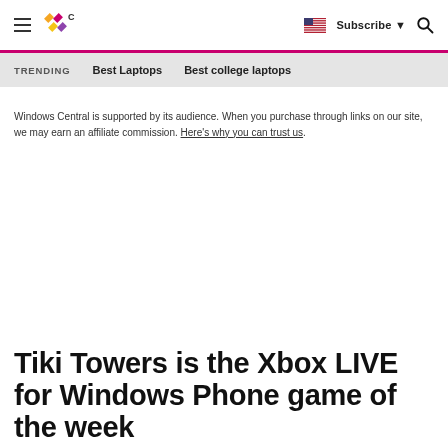Windows Central — Subscribe — Search
TRENDING   Best Laptops   Best college laptops
Windows Central is supported by its audience. When you purchase through links on our site, we may earn an affiliate commission. Here's why you can trust us.
Tiki Towers is the Xbox LIVE for Windows Phone game of the week